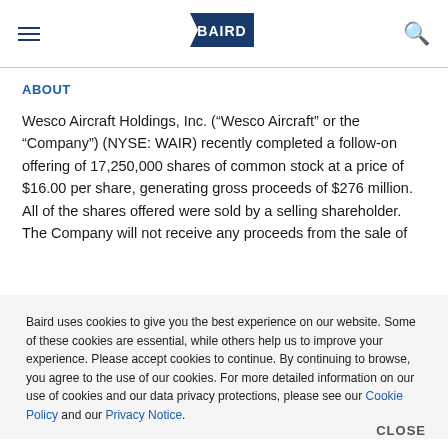BAIRD
ABOUT
Wesco Aircraft Holdings, Inc. (“Wesco Aircraft” or the “Company”) (NYSE: WAIR) recently completed a follow-on offering of 17,250,000 shares of common stock at a price of $16.00 per share, generating gross proceeds of $276 million. All of the shares offered were sold by a selling shareholder. The Company will not receive any proceeds from the sale of
Baird uses cookies to give you the best experience on our website. Some of these cookies are essential, while others help us to improve your experience. Please accept cookies to continue. By continuing to browse, you agree to the use of our cookies. For more detailed information on our use of cookies and our data privacy protections, please see our Cookie Policy and our Privacy Notice.
CLOSE